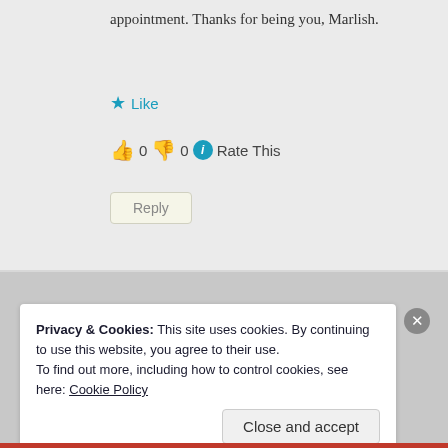appointment. Thanks for being you, Marlish.
★ Like
👍 0 👎 0 ℹ Rate This
Reply
Privacy & Cookies: This site uses cookies. By continuing to use this website, you agree to their use.
To find out more, including how to control cookies, see here: Cookie Policy
Close and accept